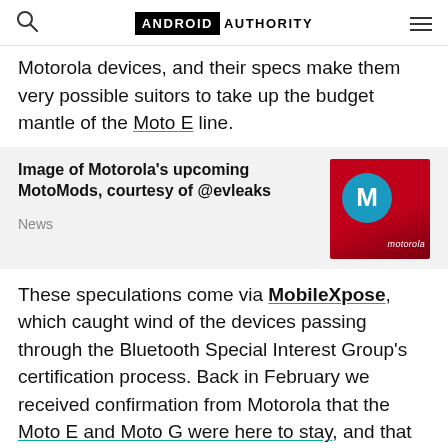ANDROID AUTHORITY
Motorola devices, and their specs make them very possible suitors to take up the budget mantle of the Moto E line.
Image of Motorola's upcoming MotoMods, courtesy of @evleaks
News
These speculations come via MobileXpose, which caught wind of the devices passing through the Bluetooth Special Interest Group's certification process. Back in February we received confirmation from Motorola that the Moto E and Moto G were here to stay, and that in spite of